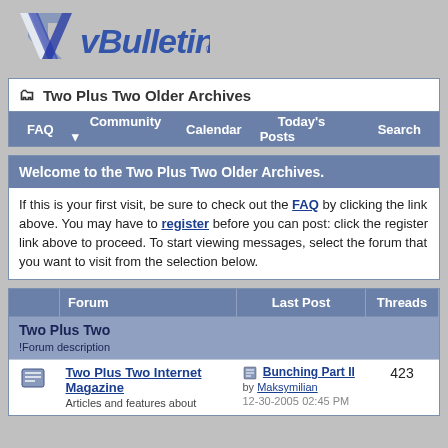[Figure (logo): vBulletin logo with stylized blue '"V' icon and italic vBulletin text]
Two Plus Two Older Archives
FAQ
Community
Calendar
Today's Posts
Search
Welcome to the Two Plus Two Older Archives.
If this is your first visit, be sure to check out the FAQ by clicking the link above. You may have to register before you can post: click the register link above to proceed. To start viewing messages, select the forum that you want to visit from the selection below.
|  | Forum | Last Post | Threads |
| --- | --- | --- | --- |
| Two Plus Two | !Forum description |  |  |
| [icon] | Two Plus Two Internet Magazine
Articles and features about | Bunching Part II
by Maksymilian
12-30-2005 02:45 PM | 423 |